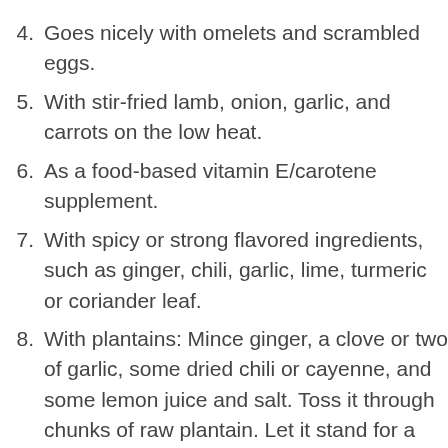4. Goes nicely with omelets and scrambled eggs.
5. With stir-fried lamb, onion, garlic, and carrots on the low heat.
6. As a food-based vitamin E/carotene supplement.
7. With spicy or strong flavored ingredients, such as ginger, chili, garlic, lime, turmeric or coriander leaf.
8. With plantains: Mince ginger, a clove or two of garlic, some dried chili or cayenne, and some lemon juice and salt. Toss it through chunks of raw plantain. Let it stand for a while, so plantain would absorb the flavors.